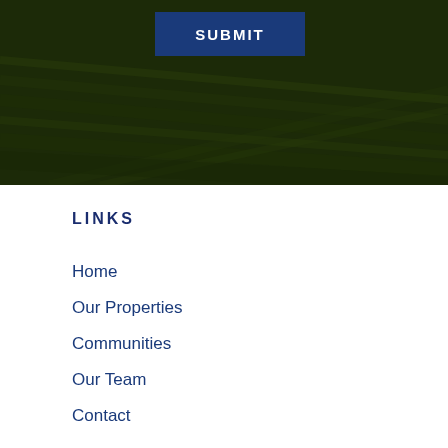[Figure (photo): Dark green grass field aerial view with a blue Submit button in the upper portion]
LINKS
Home
Our Properties
Communities
Our Team
Contact
CONTACT
508.785.1234
info@dovercountryproperties.com